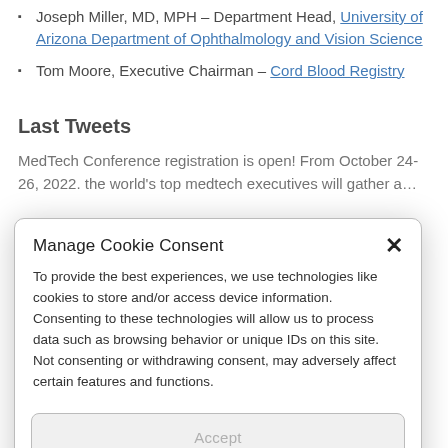Joseph Miller, MD, MPH – Department Head, University of Arizona Department of Ophthalmology and Vision Science
Tom Moore, Executive Chairman – Cord Blood Registry
Last Tweets
MedTech Conference registration is open! From October 24-26, 2022. the world's top medtech executives will gather a…
Manage Cookie Consent
To provide the best experiences, we use technologies like cookies to store and/or access device information. Consenting to these technologies will allow us to process data such as browsing behavior or unique IDs on this site. Not consenting or withdrawing consent, may adversely affect certain features and functions.
Accept
Do Not Sell My Personal Information   Privacy statem